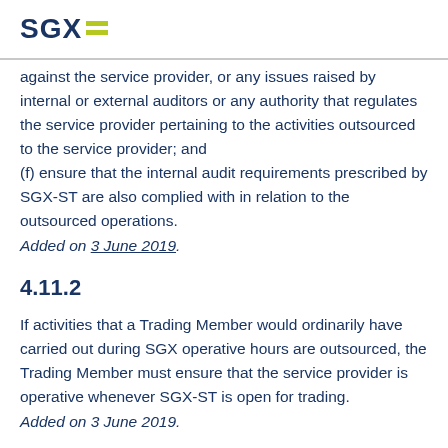SGX
against the service provider, or any issues raised by internal or external auditors or any authority that regulates the service provider pertaining to the activities outsourced to the service provider; and
(f) ensure that the internal audit requirements prescribed by SGX-ST are also complied with in relation to the outsourced operations.
Added on 3 June 2019.
4.11.2
If activities that a Trading Member would ordinarily have carried out during SGX operative hours are outsourced, the Trading Member must ensure that the service provider is operative whenever SGX-ST is open for trading.
Added on 3 June 2019.